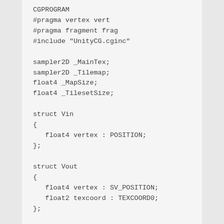CGPROGRAM
#pragma vertex vert
#pragma fragment frag
#include "UnityCG.cginc"

sampler2D _MainTex;
sampler2D _Tilemap;
float4 _MapSize;
float4 _TilesetSize;

struct Vin
{
   float4 vertex : POSITION;
};

struct Vout
{
   float4 vertex : SV_POSITION;
   float2 texcoord : TEXCOORD0;
};

Vout vert(Vin vin)
{